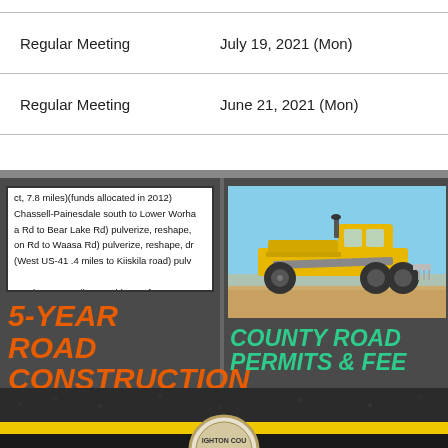| Meeting Type | Date |
| --- | --- |
| Regular Meeting | July 19, 2021 (Mon) |
| Regular Meeting | June 21, 2021 (Mon) |
| ct, 7.8 miles)(funds allocated in 2012) |
| Chassell-Painesdale south to Lower Worha |
| a Rd to Bear Lake Rd) pulverize, reshape, |
| on Rd to Waasa Rd) pulverize, reshape, dr |
| (West US-41 .4 miles to Kiiskila road) pulv |
|  |
| -26 then 0.62 miles North) resurface - Sma |
5-YEAR ROAD CONSTRUCTION PROGRAM
[Figure (photo): Motor grader construction equipment on dirt road with blue sky]
COUNTY ROAD PERMITS & FEE
[Figure (photo): Road surface footer with yellow center line marking and county logo]